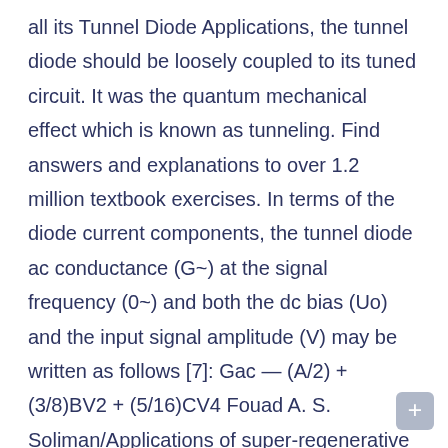all its Tunnel Diode Applications, the tunnel diode should be loosely coupled to its tuned circuit. It was the quantum mechanical effect which is known as tunneling. Find answers and explanations to over 1.2 million textbook exercises. In terms of the diode current components, the tunnel diode ac conductance (G~) at the signal frequency (0~) and both the dc bias (Uo) and the input signal amplitude (V) may be written as follows [7]: Gac — (A/2) + (3/8)BV2 + (5/16)CV4 Fouad A. S. Soliman/Applications of super-regenerative circuits + (351128)DV6 + (631256)EV8 + (23111024)FV~ (1) or g„ = Go - g(V) (2) where Go (equal to … Twitter. Tunnel diodes are a bit rare these days, but still have uses in special applications including extreme